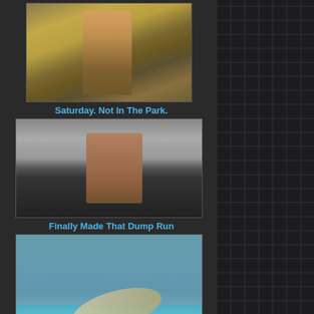[Figure (photo): Person standing outdoors in field wearing bikini top and shorts]
Saturday. Not In The Park.
[Figure (photo): Muscular shirtless man indoors near window blinds]
Finally Made That Dump Run
[Figure (photo): Underwater photo of person swimming with sharks in blue water]
Pretty Normal Wednesday. So Far&hellip;
Spam blocked
5,371 spam